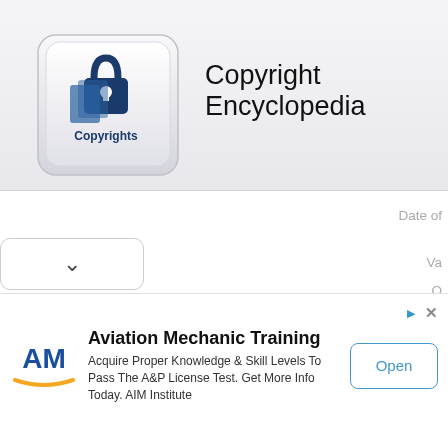[Figure (logo): Copyright Encyclopedia app icon — keyboard key with a padlock and stacked papers graphic, labeled 'Copyrights']
Copyright Encyclopedia
Date of
Va
O
Published
Ap
Copyright
Authorship on Ap
[Figure (other): Dropdown chevron button (v shape)]
[Figure (other): Advertisement banner for Aviation Mechanic Training by AIM Institute with AM logo and Open button]